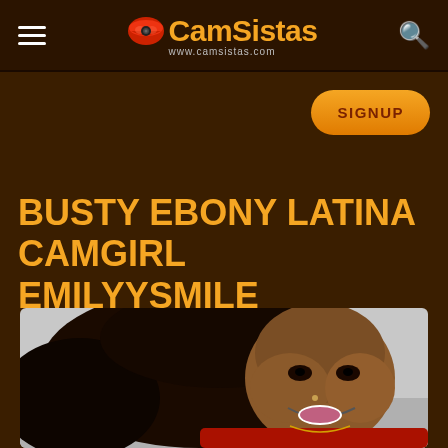CamSistas — www.camsistas.com
SIGNUP
BUSTY EBONY LATINA CAMGIRL EMILYYSMILE
[Figure (photo): Photo of a young woman with long dark hair lying down, smiling at the camera]